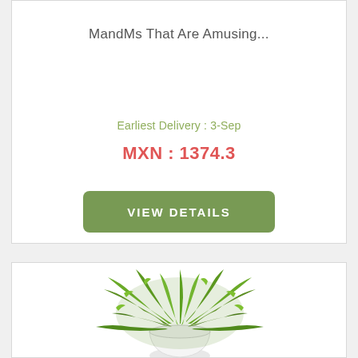MandMs That Are Amusing...
Earliest Delivery : 3-Sep
MXN : 1374.3
VIEW DETAILS
[Figure (photo): A lush green Boston fern plant in a white pot, photographed on a white background]